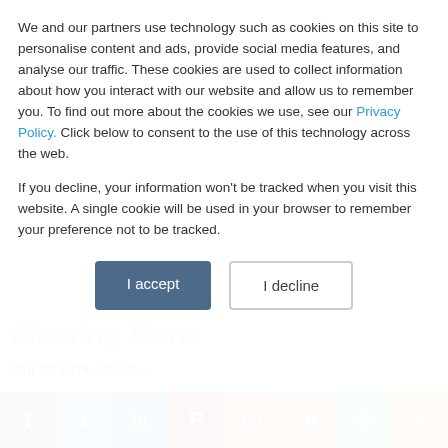We and our partners use technology such as cookies on this site to personalise content and ads, provide social media features, and analyse our traffic. These cookies are used to collect information about how you interact with our website and allow us to remember you. To find out more about the cookies we use, see our Privacy Policy. Click below to consent to the use of this technology across the web.
If you decline, your information won't be tracked when you visit this website. A single cookie will be used in your browser to remember your preference not to be tracked.
I accept | I decline
Floating Fiero
Jun 30, 2016  BLOG • EUROPE • GLOBAL SEVERE WEATHER • RISK MANAGEMENT
[Figure (infographic): Social media sharing bar with icons for Facebook, Twitter, LinkedIn, Pinterest, Reddit, Mix, WhatsApp, and More]